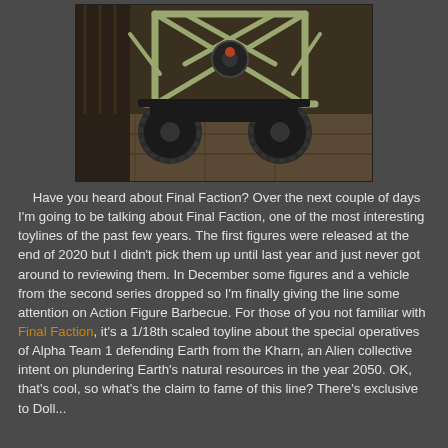[Figure (photo): Close-up photo of a toy vehicle with large rugged dark wheels and a skeletal olive/tan frame or roll cage structure, placed on a stone-textured surface with wooden elements in background.]
Have you heard about Final Faction? Over the next couple of days I'm going to be talking about Final Faction, one of the most interesting toylines of the past few years. The first figures were released at the end of 2020 but I didn't pick them up until last year and just never got around to reviewing them. In December some figures and a vehicle from the second series dropped so I'm finally giving the line some attention on Action Figure Barbecue. For those of you not familiar with Final Faction, it's a 1/18th scaled toyline about the special operatives of Alpha Team 1 defending Earth from the Kharn, an Alien collective intent on plundering Earth's natural resources in the year 2050. OK, that's cool, so what's the claim to fame of this line? There's exclusive to Dollar...